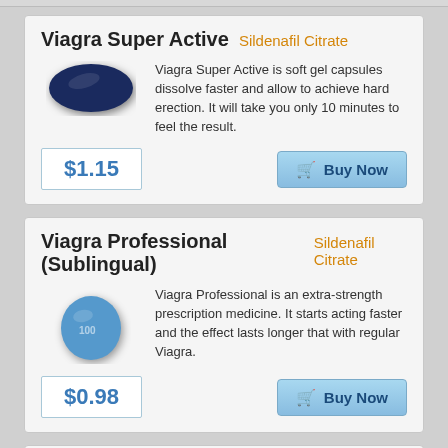Viagra Super Active  Sildenafil Citrate
Viagra Super Active is soft gel capsules dissolve faster and allow to achieve hard erection. It will take you only 10 minutes to feel the result.
$1.15
Buy Now
Viagra Professional (Sublingual)  Sildenafil Citrate
Viagra Professional is an extra-strength prescription medicine. It starts acting faster and the effect lasts longer that with regular Viagra.
$0.98
Buy Now
Kamagra  Sildenafil Citrate